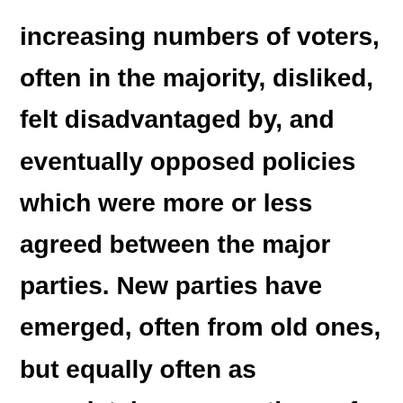increasing numbers of voters, often in the majority, disliked, felt disadvantaged by, and eventually opposed policies which were more or less agreed between the major parties. New parties have emerged, often from old ones, but equally often as completely new creations of the alienated groups of citizens. In the case of FIDESZ, new wine was added to the old wine-skin